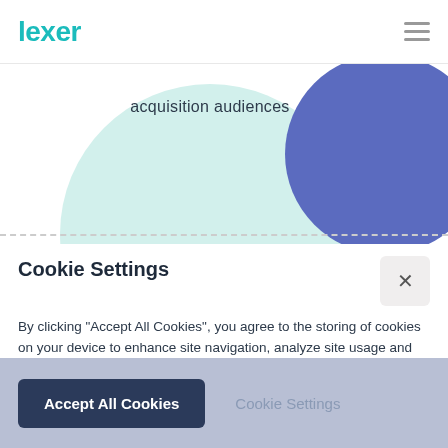Lexer
[Figure (illustration): Decorative circles: a large mint/teal circle and a smaller blue/purple circle partially visible, with text 'acquisition audiences' inside the teal circle area]
Cookie Settings
By clicking “Accept All Cookies”, you agree to the storing of cookies on your device to enhance site navigation, analyze site usage and assist in our marketing efforts.
More info
Accept All Cookies
Cookie Settings